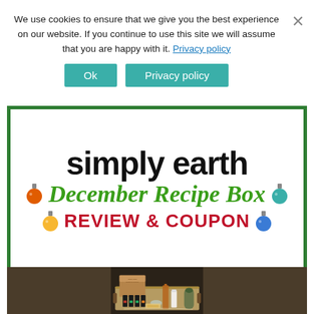We use cookies to ensure that we give you the best experience on our website. If you continue to use this site we will assume that you are happy with it. Privacy policy
[Figure (screenshot): Simply Earth December Recipe Box Review & Coupon banner graphic with logo text and ornament decorations]
[Figure (photo): Simply Earth Essential Oil Recipe Box product photo showing a wooden tray with essential oil bottles, a spray bottle, a white roll-on container, a glass bowl, and small plant arrangement]